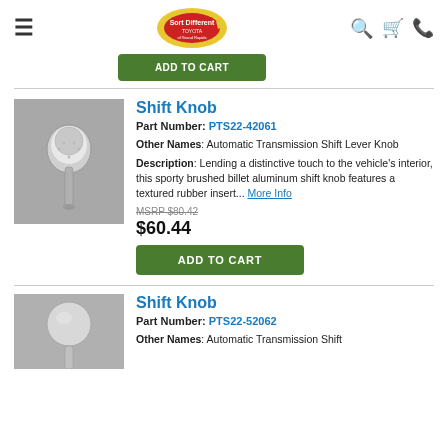Sort different Toyota of Grand Rapids header with search, cart, and phone icons
ADD TO CART (button, partially visible)
Shift Knob
Part Number: PTS22-42061
Other Names: Automatic Transmission Shift Lever Knob
Description: Lending a distinctive touch to the vehicle's interior, this sporty brushed billet aluminum shift knob features a textured rubber insert... More Info
MSRP $80.42
$60.44
ADD TO CART
Shift Knob
Part Number: PTS22-52062
Other Names: Automatic Transmission Shift